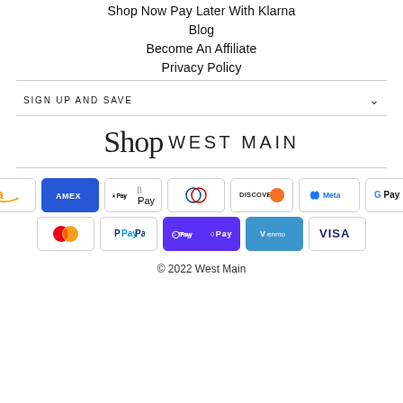Shop Now Pay Later With Klarna
Blog
Become An Affiliate
Privacy Policy
SIGN UP AND SAVE
[Figure (logo): Shop West Main logo with script 'Shop' and sans-serif 'WEST MAIN']
[Figure (infographic): Payment method badges: Amazon, AMEX, Apple Pay, Diners Club, Discover, Meta Pay, Google Pay, Mastercard, PayPal, Shop Pay, Venmo, Visa]
© 2022 West Main